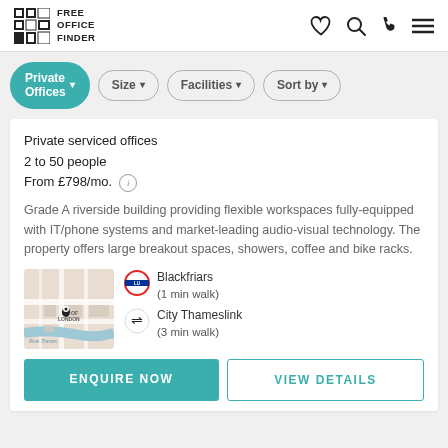FREE OFFICE FINDER
Private serviced offices
2 to 50 people
From £798/mo.
Grade A riverside building providing flexible workspaces fully-equipped with IT/phone systems and market-leading audio-visual technology. The property offers large breakout spaces, showers, coffee and bike racks.
[Figure (map): Street map thumbnail showing location near City of London with pin marker]
Blackfriars (1 min walk)
City Thameslink (3 min walk)
ENQUIRE NOW
VIEW DETAILS